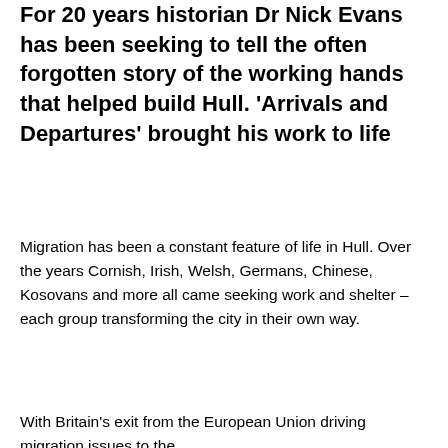For 20 years historian Dr Nick Evans has been seeking to tell the often forgotten story of the working hands that helped build Hull. 'Arrivals and Departures' brought his work to life
Migration has been a constant feature of life in Hull. Over the years Cornish, Irish, Welsh, Germans, Chinese, Kosovans and more all came seeking work and shelter – each group transforming the city in their own way.
With Britain's exit from the European Union driving migration issues to the